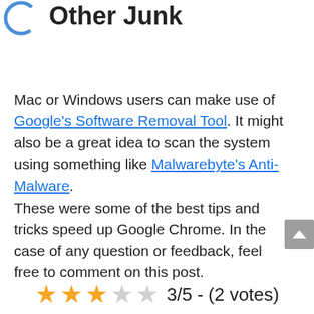[Figure (illustration): Partial blue circle/ring icon at top left]
Other Junk
Mac or Windows users can make use of Google's Software Removal Tool. It might also be a great idea to scan the system using something like Malwarebyte's Anti-Malware.
These were some of the best tips and tricks speed up Google Chrome. In the case of any question or feedback, feel free to comment on this post.
3/5 - (2 votes)